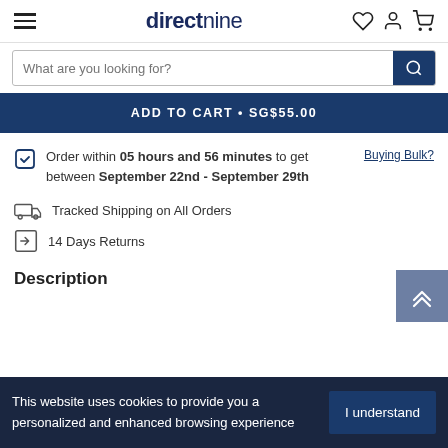directnine
What are you looking for?
ADD TO CART • SG$55.00
Order within 05 hours and 56 minutes to get between September 22nd - September 29th
Buying Bulk?
Tracked Shipping on All Orders
14 Days Returns
Description
This website uses cookies to provide you a personalized and enhanced browsing experience